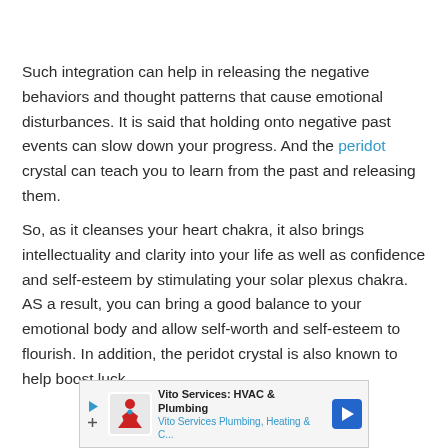Such integration can help in releasing the negative behaviors and thought patterns that cause emotional disturbances. It is said that holding onto negative past events can slow down your progress. And the peridot crystal can teach you to learn from the past and releasing them.
So, as it cleanses your heart chakra, it also brings intellectuality and clarity into your life as well as confidence and self-esteem by stimulating your solar plexus chakra. AS a result, you can bring a good balance to your emotional body and allow self-worth and self-esteem to flourish. In addition, the peridot crystal is also known to help boost luck
[Figure (other): Advertisement banner for Vito Services: HVAC & Plumbing, showing logo with figure and arrow icon, text reads 'Vito Services: HVAC & Plumbing' and 'Vito Services Plumbing, Heating & C...']